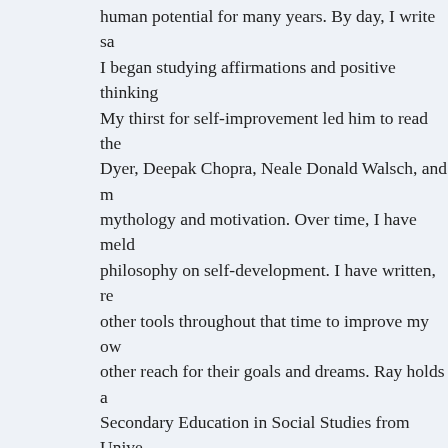human potential for many years. By day, I write sa... I began studying affirmations and positive thinking... My thirst for self-improvement led him to read the works of Wayne Dyer, Deepak Chopra, Neale Donald Walsch, and mythology and motivation. Over time, I have melded a philosophy on self-development. I have written, re... other tools throughout that time to improve my own... other reach for their goals and dreams. Ray holds a degree in Secondary Education in Social Studies from University... Hill, Ks with his wife.
View all posts by Ray Davis - The Affirmation Spo...
This entry was posted in Commentary and tagged doomsday, dystopia, proph...
← Famous Roswell Photo    Que...
Advertisements
[Figure (logo): AUTOMATTIC logo text]
Follow